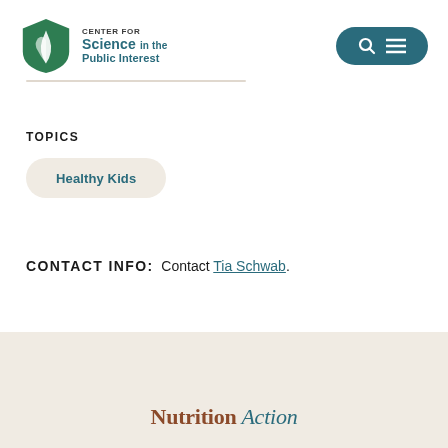[Figure (logo): Center for Science in the Public Interest logo with green shield/leaf icon and teal text]
[Figure (logo): Dark teal rounded pill button with search (magnifying glass) and menu (hamburger) icons]
TOPICS
Healthy Kids
CONTACT INFO: Contact Tia Schwab.
[Figure (logo): Nutrition Action newsletter logo at bottom of page on beige/cream background]